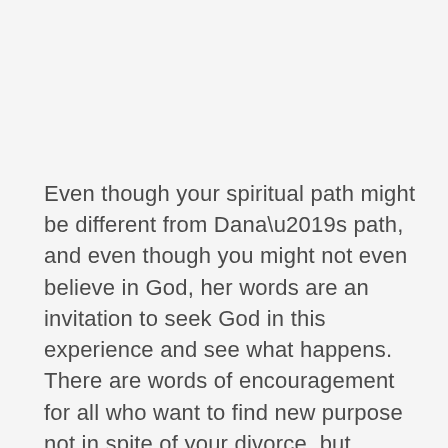Even though your spiritual path might be different from Dana’s path, and even though you might not even believe in God, her words are an invitation to seek God in this experience and see what happens. There are words of encouragement for all who want to find new purpose not in spite of your divorce, but because of how God can use it for His glory (and your good by the way).